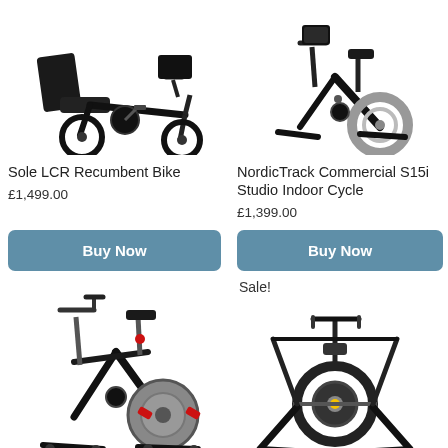[Figure (photo): Sole LCR Recumbent Bike product photo - black recumbent exercise bike]
[Figure (photo): NordicTrack Commercial S15i Studio Indoor Cycle product photo - black upright indoor cycle]
Sole LCR Recumbent Bike
£1,499.00
NordicTrack Commercial S15i Studio Indoor Cycle
£1,399.00
Buy Now
Buy Now
Sale!
[Figure (photo): Indoor cycle / spin bike with red accents and grey flywheel - black]
[Figure (photo): Bike trainer / roller stand - black frame with flywheel and yellow detail]